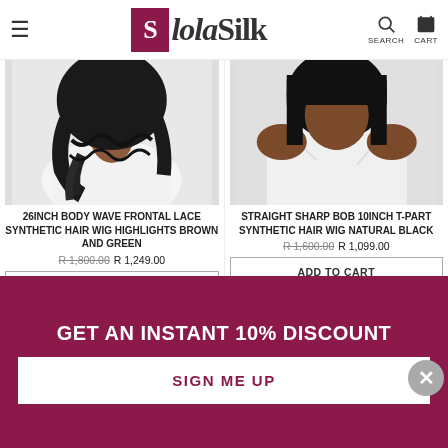SiolaSilk — SEARCH CART
[Figure (photo): Woman showing back of wavy dark hair, wearing white top — product photo for 26INCH BODY WAVE FRONTAL LACE SYNTHETIC HAIR WIG]
26INCH BODY WAVE FRONTAL LACE SYNTHETIC HAIR WIG HIGHLIGHTS BROWN AND GREEN
R 1,800.00 R 1,249.00
ADD TO CART
[Figure (photo): Woman wearing straight dark bob wig, white tube top, front-facing — product photo for STRAIGHT SHARP BOB 10INCH T-PART SYNTHETIC HAIR WIG]
STRAIGHT SHARP BOB 10INCH T-PART SYNTHETIC HAIR WIG NATURAL BLACK
R 1,600.00 R 1,099.00
ADD TO CART
[Figure (photo): Partial product thumbnail — person with light-colored wig]
[Figure (photo): Partial product thumbnail — person with dark hair]
GET AN INSTANT 10% DISCOUNT
SIGN ME UP